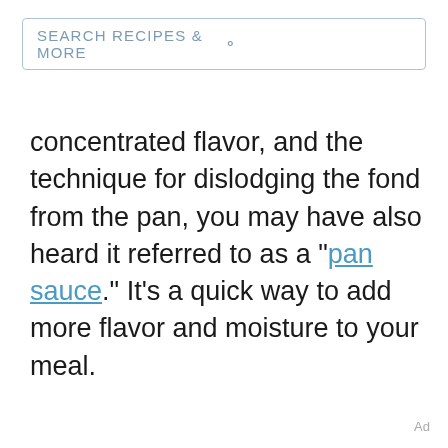SEARCH RECIPES & MORE
concentrated flavor, and the technique for dislodging the fond from the pan, you may have also heard it referred to as a "pan sauce." It's a quick way to add more flavor and moisture to your meal.
Ad